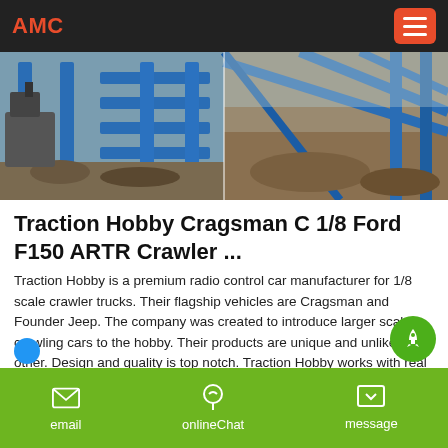AMC
[Figure (photo): Construction site with blue metal framework and soil/excavation work, split into two panels]
Traction Hobby Cragsman C 1/8 Ford F150 ARTR Crawler ...
Traction Hobby is a premium radio control car manufacturer for 1/8 scale crawler trucks. Their flagship vehicles are Cragsman and Founder Jeep. The company was created to introduce larger scale crawling cars to the hobby. Their products are unique and unlike any other. Design and quality is top notch. Traction Hobby works with real 1:1 manufacturers to develop their own scaled down products.
email   onlineChat   message